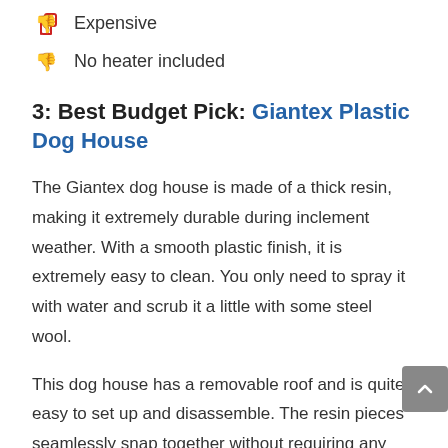Expensive
No heater included
3: Best Budget Pick: Giantex Plastic Dog House
The Giantex dog house is made of a thick resin, making it extremely durable during inclement weather. With a smooth plastic finish, it is extremely easy to clean. You only need to spray it with water and scrub it a little with some steel wool.
This dog house has a removable roof and is quite easy to set up and disassemble. The resin pieces seamlessly snap together without requiring any tools.